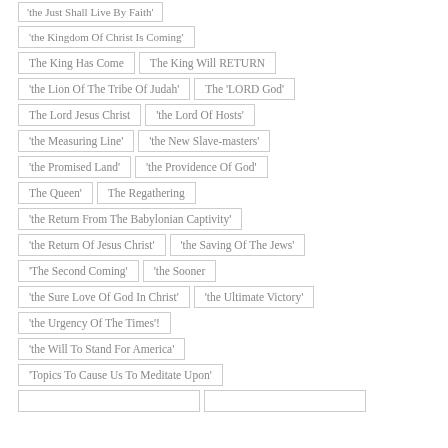'the Just Shall Live By Faith'
'the Kingdom Of Christ Is Coming'
The King Has Come
The King Will RETURN
'the Lion Of The Tribe Of Judah'
The 'LORD God'
The Lord Jesus Christ
'the Lord Of Hosts'
'the Measuring Line'
'the New Slave-masters'
'the Promised Land'
'the Providence Of God'
The Queen'
The Regathering
'the Return From The Babylonian Captivity'
'the Return Of Jesus Christ'
'the Saving Of The Jews'
'The Second Coming'
'the Sooner
'the Sure Love Of God In Christ'
'the Ultimate Victory'
'the Urgency Of The Times'!
'the Will To Stand For America'
'Topics To Cause Us To Meditate Upon'